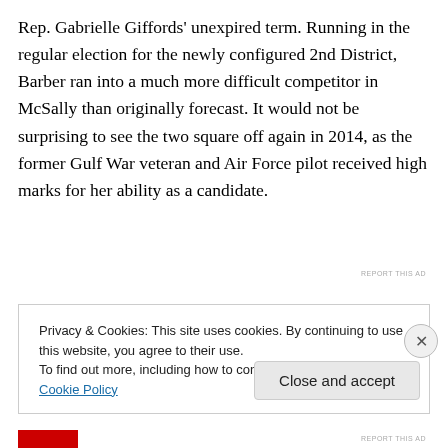Rep. Gabrielle Giffords' unexpired term. Running in the regular election for the newly configured 2nd District, Barber ran into a much more difficult competitor in McSally than originally forecast. It would not be surprising to see the two square off again in 2014, as the former Gulf War veteran and Air Force pilot received high marks for her ability as a candidate.
REPORT THIS AD
Privacy & Cookies: This site uses cookies. By continuing to use this website, you agree to their use.
To find out more, including how to control cookies, see here: Cookie Policy
Close and accept
REPORT THIS AD